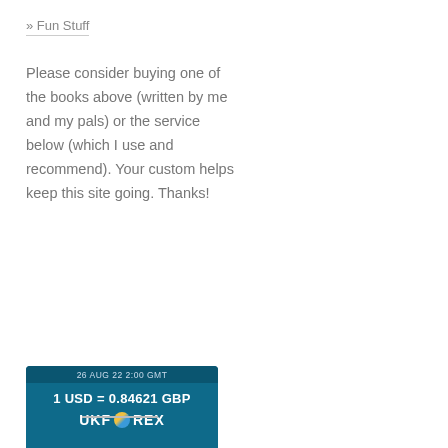» Fun Stuff
Please consider buying one of the books above (written by me and my pals) or the service below (which I use and recommend). Your custom helps keep this site going. Thanks!
[Figure (other): UKForex currency widget showing exchange rate: 26 AUG 22 2:00 GMT, 1 USD = 0.84621 GBP, UKFOREX logo]
—